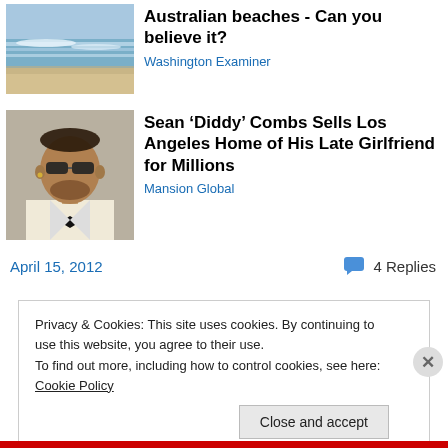[Figure (photo): Thumbnail of an Australian beach with waves and sand]
Australian beaches - Can you believe it?
Washington Examiner
[Figure (photo): Headshot of Sean 'Diddy' Combs wearing sunglasses and a white suit with black bow tie]
Sean ‘Diddy’ Combs Sells Los Angeles Home of His Late Girlfriend for Millions
Mansion Global
April 15, 2012
4 Replies
Privacy & Cookies: This site uses cookies. By continuing to use this website, you agree to their use.
To find out more, including how to control cookies, see here: Cookie Policy